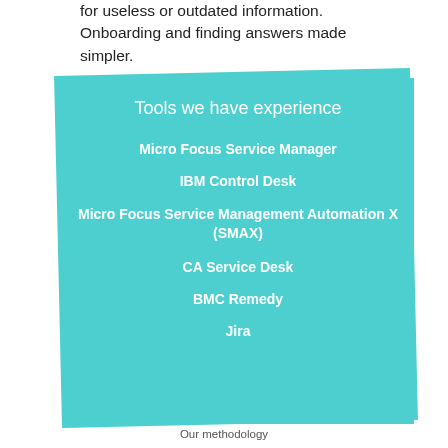for useless or outdated information. Onboarding and finding answers made simpler.
Tools we have experience
Micro Focus Service Manager
IBM Control Desk
Micro Focus Service Management Automation X (SMAX)
CA Service Desk
BMC Remedy
Jira
Our methodology